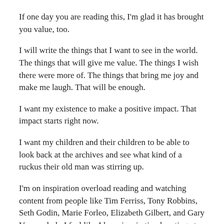If one day you are reading this, I'm glad it has brought you value, too.
I will write the things that I want to see in the world. The things that will give me value. The things I wish there were more of. The things that bring me joy and make me laugh. That will be enough.
I want my existence to make a positive impact. That impact starts right now.
I want my children and their children to be able to look back at the archives and see what kind of a ruckus their old man was stirring up.
I'm on inspiration overload reading and watching content from people like Tim Ferriss, Tony Robbins, Seth Godin, Marie Forleo, Elizabeth Gilbert, and Gary Vaynerchuk. I feel like I have inspiration bursting at the seams. The things that they are saying resonate with